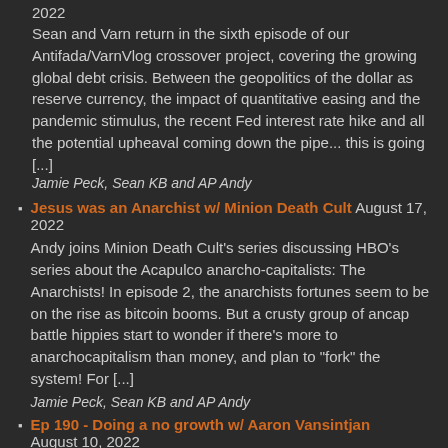2022
Sean and Varn return in the sixth episode of our Antifada/VarnVlog crossover project, covering the growing global debt crisis. Between the geopolitics of the dollar as reserve currency, the impact of quantitative easing and the pandemic stimulus, the recent Fed interest rate hike and all the potential upheaval coming down the pipe... this is going [...]
Jamie Peck, Sean KB and AP Andy
Jesus was an Anarchist w/ Minion Death Cult August 17, 2022
Andy joins Minion Death Cult's series discussing HBO's series about the Acapulco anarcho-capitalists: The Anarchists! In episode 2, the anarchists fortunes seem to be on the rise as bitcoin booms. But a crusty group of ancap battle hippies start to wonder if there's more to anarchocapitalism than money, and plan to "fork" the system! For [...]
Jamie Peck, Sean KB and AP Andy
Ep 190 - Doing a no growth w/ Aaron Vansintjan August 10, 2022
Co-author of The Future Is Degrowth: A Guide to a World...